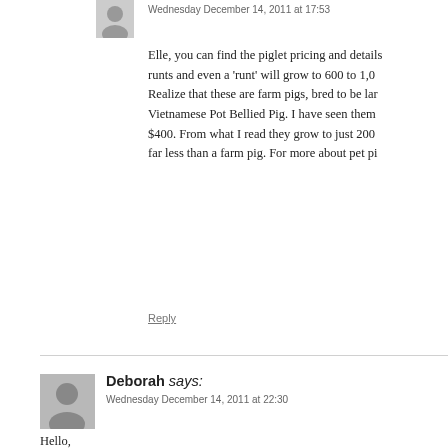Wednesday December 14, 2011 at 17:53
Elle, you can find the piglet pricing and details runts and even a ‘runt’ will grow to 600 to 1,0 Realize that these are farm pigs, bred to be lar Vietnamese Pot Bellied Pig. I have seen them $400. From what I read they grow to just 200 far less than a farm pig. For more about pet pi
Reply
Deborah says: Wednesday December 14, 2011 at 22:30
Hello,
I love your website and how you raise your animals. W not yet decides what to raise. i have been reading abou are going to do. But I think the pigs will be first. We ha pigs as well. Do you have any suggestions on the bree